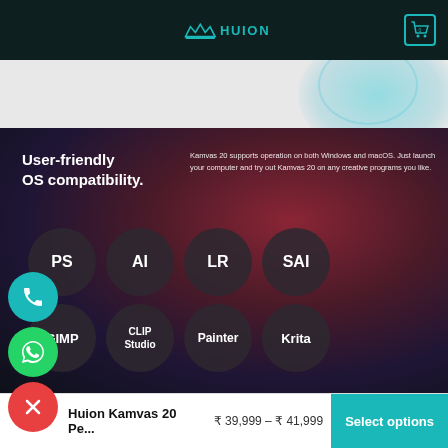HUION — navigation header with cart icon showing 0
[Figure (illustration): Light gray hero strip with teal/cyan circular gradient on the right side]
[Figure (screenshot): Dark blurred background section showing User-friendly OS compatibility with app icons: PS, AI, LR, SAI, GIMP, CLIP Studio, Painter, Krita. Floating phone, WhatsApp, and close buttons on the left.]
User-friendly OS compatibility.
Kamvas 20 supports operation on both Windows and macOS. Just launch your computer and try out Kamvas 20 on any creative programs you like.
Huion Kamvas 20 Pe... ₹ 39,999 – ₹ 41,999 Select options